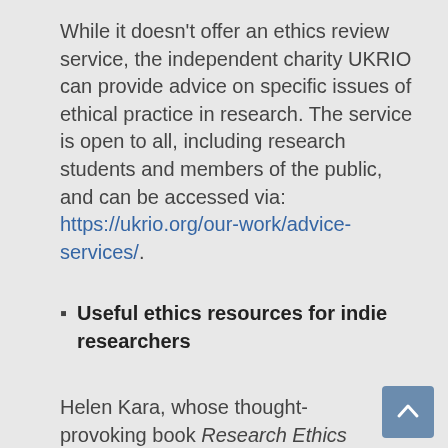While it doesn't offer an ethics review service, the independent charity UKRIO can provide advice on specific issues of ethical practice in research. The service is open to all, including research students and members of the public, and can be accessed via: https://ukrio.org/our-work/advice-services/.
Useful ethics resources for indie researchers
Helen Kara, whose thought-provoking book Research Ethics in